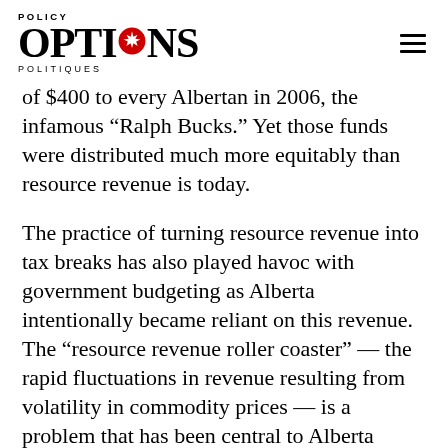POLICY OPTIONS POLITIQUES
of $400 to every Albertan in 2006, the infamous “Ralph Bucks.” Yet those funds were distributed much more equitably than resource revenue is today.
The practice of turning resource revenue into tax breaks has also played havoc with government budgeting as Alberta intentionally became reliant on this revenue. The “resource revenue roller coaster” — the rapid fluctuations in revenue resulting from volatility in commodity prices — is a problem that has been central to Alberta political debates from Getty onward. The only solution is to remove